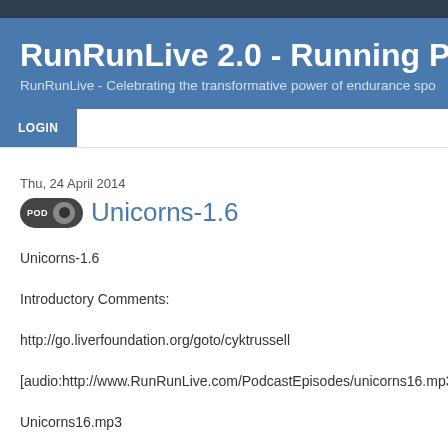RunRunLive 2.0 - Running Podcast : U
RunRunLive - Celebrating the transformative power of endurance spo
LOGIN
Thu, 24 April 2014
Unicorns-1.6
Unicorns-1.6
Introductory Comments:
http://go.liverfoundation.org/goto/cyktrussell
[audio:http://www.RunRunLive.com/PodcastEpisodes/unicorns16.mp3]
Unicorns16.mp3